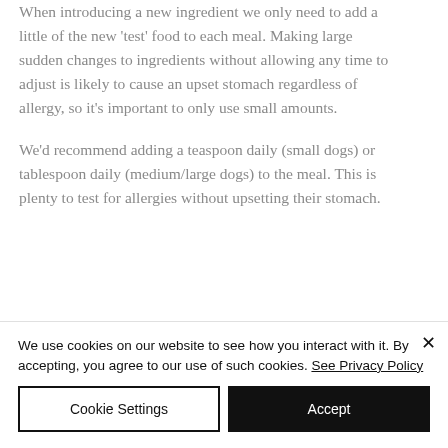When introducing a new ingredient we only need to add a little of the new 'test' food to each meal. Making large sudden changes to ingredients without allowing any time to adjust is likely to cause an upset stomach regardless of allergy, so it's important to only use small amounts.
We'd recommend adding a teaspoon daily (small dogs) or tablespoon daily (medium/large dogs) to the meal. This is plenty to test for allergies without upsetting their stomach.
We use cookies on our website to see how you interact with it. By accepting, you agree to our use of such cookies. See Privacy Policy